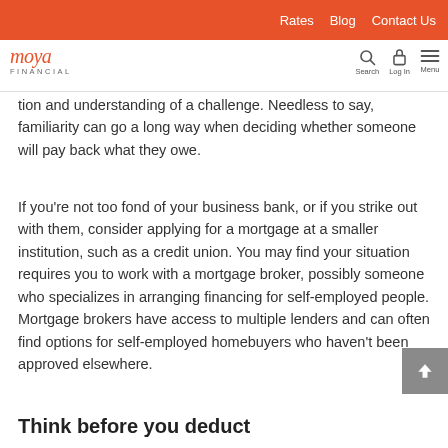Rates  Blog  Contact Us
moya FINANCIAL  Search  Log In  Menu
tion and understanding of a challenge. Needless to say, familiarity can go a long way when deciding whether someone will pay back what they owe.
If you're not too fond of your business bank, or if you strike out with them, consider applying for a mortgage at a smaller institution, such as a credit union. You may find your situation requires you to work with a mortgage broker, possibly someone who specializes in arranging financing for self-employed people. Mortgage brokers have access to multiple lenders and can often find options for self-employed homebuyers who haven't been approved elsewhere.
Think before you deduct